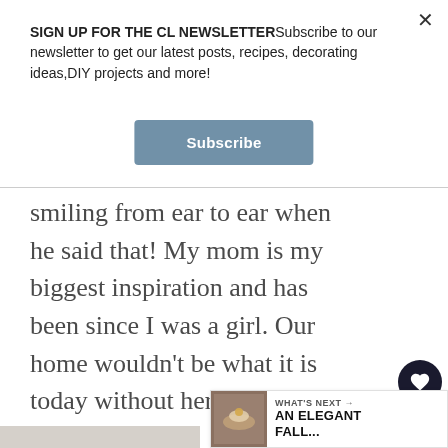SIGN UP FOR THE CL NEWSLETTERSubscribe to our newsletter to get our latest posts, recipes, decorating ideas,DIY projects and more!
Subscribe
smiling from ear to ear when he said that! My mom is my biggest inspiration and has been since I was a girl. Our home wouldn't be what it is today without her incredible style influence!
2
WHAT'S NEXT → AN ELEGANT FALL...